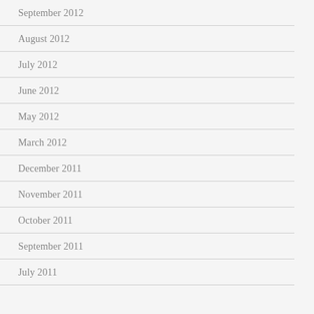September 2012
August 2012
July 2012
June 2012
May 2012
March 2012
December 2011
November 2011
October 2011
September 2011
July 2011